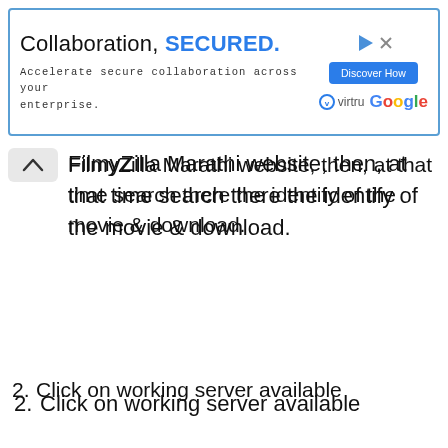[Figure (other): Advertisement banner for Collaboration SECURED by Virtru and Google. Contains 'Collaboration, SECURED.' heading, 'Accelerate secure collaboration across your enterprise.' subtext, a blue 'Discover How' button, Virtru logo, and Google logo with a video play icon and close button.]
FilmyZilla Marathi website, then, at that time search there the identify of the movie & download.
2. Click on working server available
3. Presently on clicking download, all movie download connections will present up earlier than you. Which you possibly can download as per the group.
Marathi Movies Download 2022
[Figure (other): Join Telegram button with teal background and Telegram paper plane icon circle]